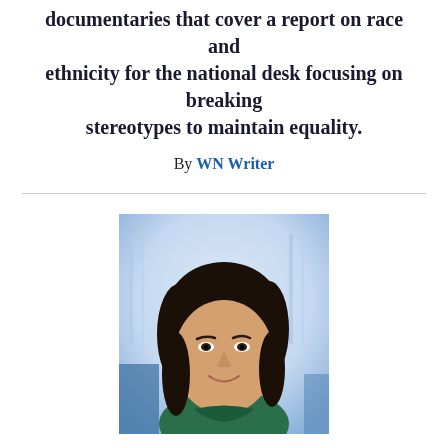documentaries that cover a report on race and ethnicity for the national desk focusing on breaking stereotypes to maintain equality.
By WN Writer
[Figure (photo): Professional headshot of a woman with dark curly hair, wearing a green blouse, smiling, with a blurred office background.]